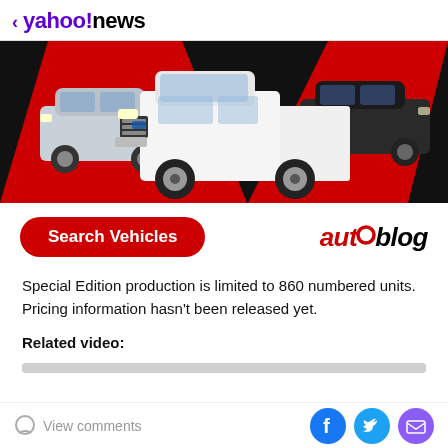< yahoo!news
[Figure (photo): Yahoo News article page showing a white Ford F-150 pickup truck in the foreground with other SUVs on a red and black background. Below the hero image is a red 'Search Vehicles' button and the Autoblog logo.]
Special Edition production is limited to 860 numbered units. Pricing information hasn't been released yet.
Related video:
View comments